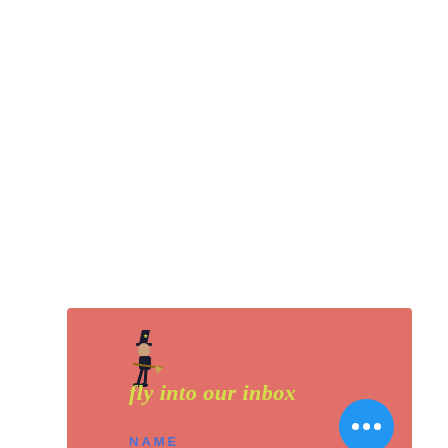[Figure (illustration): A pink/salmon colored card or email signup banner with a small witch figure riding a broomstick illustration, decorative text 'fly into our inbox' in yellow-green italic serif font, and a NAME label in blue at the bottom. A bright blue circle button with three white dots (ellipsis/more options) appears in the bottom-right corner of the card.]
fly into our inbox
NAME